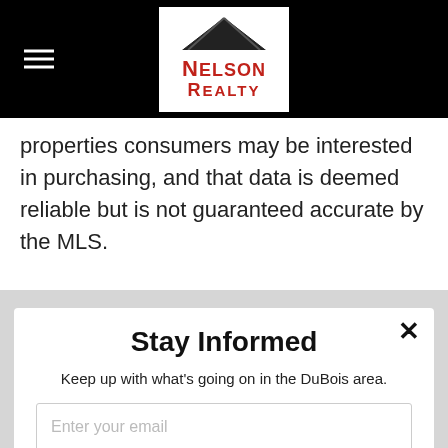Nelson Realty (logo and hamburger menu)
properties consumers may be interested in purchasing, and that data is deemed reliable but is not guaranteed accurate by the MLS.
Stay Informed
Keep up with what's going on in the DuBois area.
Enter your email
SUBSCRIBE TODAY!
powered by MailMunch